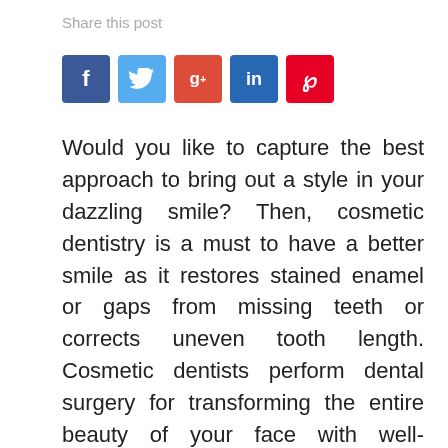Share this post
[Figure (infographic): Social media share buttons: Facebook (f), Twitter (bird), Google+ (g+), LinkedIn (in), Pinterest (p)]
Would you like to capture the best approach to bring out a style in your dazzling smile? Then, cosmetic dentistry is a must to have a better smile as it restores stained enamel or gaps from missing teeth or corrects uneven tooth length. Cosmetic dentists perform dental surgery for transforming the entire beauty of your face with well-structured teeth that present smiling mouth. Once the dentists of Cosmetic dentistry in Riverside, CA address all dental issues, you can get exact